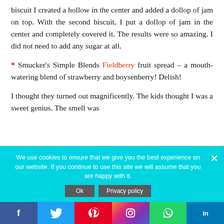biscuit I created a hollow in the center and added a dollop of jam on top. With the second biscuit, I put a dollop of jam in the center and completely covered it. The results were so amazing. I did not need to add any sugar at all.
* Smucker's Simple Blends Fieldberry fruit spread – a mouth-watering blend of strawberry and boysenberry! Delish!
I thought they turned out magnificently. The kids thought I was a sweet genius. The smell was
We use cookies to ensure that we give you the best experience on our website. If you continue to use this site we will assume that you are happy with it.
Ok   Privacy policy